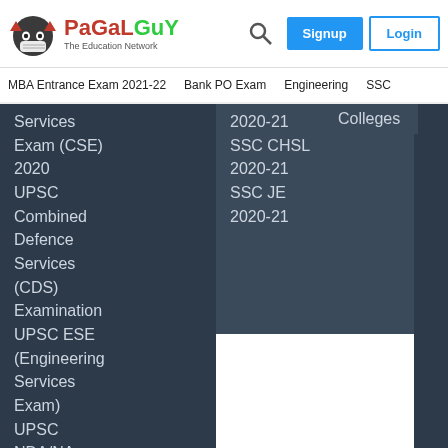[Figure (logo): PaGaLGuY The Education Network logo with mascot face icon]
MBA Entrance Exam 2021-22   Bank PO Exam   Engineering   SSC
Services
Exam (CSE)
2020
UPSC
Combined
Defence
Services
(CDS)
Examination
UPSC ESE
(Engineering
Services
Exam)
UPSC
NDA/NA
Exam
UPSC - IFS
UPSC
SO/Steno
2020-21
SSC CHSL
2020-21
SSC JE
2020-21
Colleges